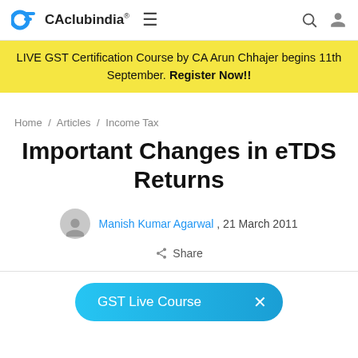CAclubindia® ≡ 🔍 👤
LIVE GST Certification Course by CA Arun Chhajer begins 11th September. Register Now!!
Home / Articles / Income Tax
Important Changes in eTDS Returns
Manish Kumar Agarwal , 21 March 2011
Share
GST Live Course ×